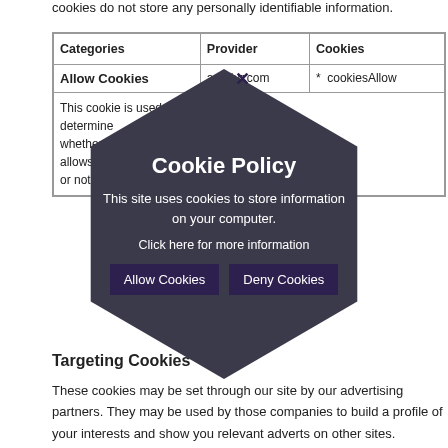cookies do not store any personally identifiable information.
| Categories | Provider | Cookies |
| --- | --- | --- |
| Allow Cookies | adadur.com | * cookiesAllow |
| This cookie is used to determine whether the user allows cookies on or not. |  |  |
Targeting Cookies
These cookies may be set through our site by our advertising partners. They may be used by those companies to build a profile of your interests and show you relevant adverts on other sites.
[Figure (infographic): Cookie Policy overlay modal in a dark hexagonal shape. Title: Cookie Policy. Body: This site uses cookies to store information on your computer. Link: Click here for more information. Buttons: Allow Cookies, Deny Cookies. Close X button in top right.]